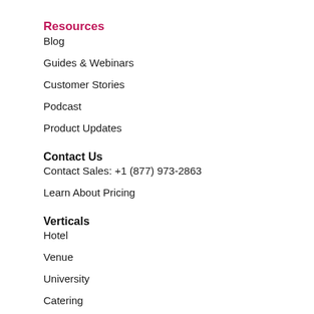Resources
Blog
Guides & Webinars
Customer Stories
Podcast
Product Updates
Contact Us
Contact Sales: +1 (877) 973-2863
Learn About Pricing
Verticals
Hotel
Venue
University
Catering